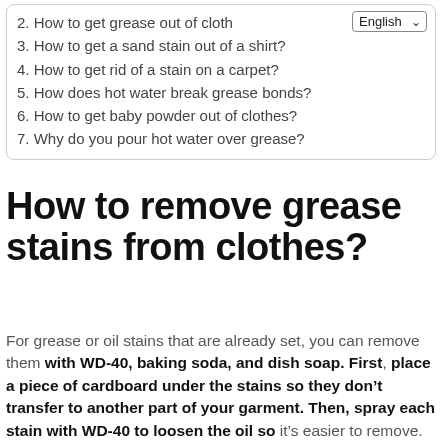2. How to get grease out of cloth...
3. How to get a sand stain out of a shirt?
4. How to get rid of a stain on a carpet?
5. How does hot water break grease bonds?
6. How to get baby powder out of clothes?
7. Why do you pour hot water over grease?
How to remove grease stains from clothes?
For grease or oil stains that are already set, you can remove them with WD-40, baking soda, and dish soap. First, place a piece of cardboard under the stains so they don’t transfer to another part of your garment. Then, spray each stain with WD-40 to loosen the oil so it’s easier to remove.